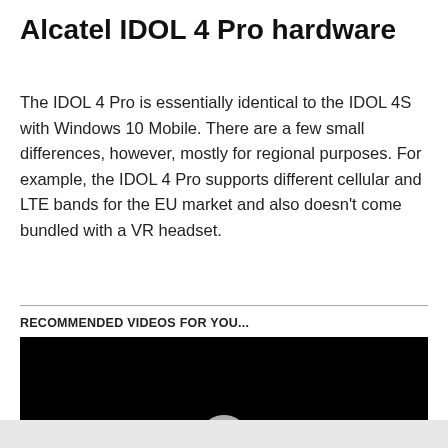Alcatel IDOL 4 Pro hardware
The IDOL 4 Pro is essentially identical to the IDOL 4S with Windows 10 Mobile. There are a few small differences, however, mostly for regional purposes. For example, the IDOL 4 Pro supports different cellular and LTE bands for the EU market and also doesn't come bundled with a VR headset.
RECOMMENDED VIDEOS FOR YOU...
[Figure (screenshot): Black video player area with a partially visible circular play button at the bottom center, and a close (×) button at the bottom right corner.]